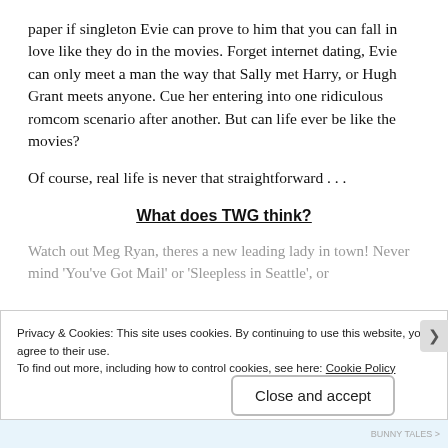paper if singleton Evie can prove to him that you can fall in love like they do in the movies. Forget internet dating, Evie can only meet a man the way that Sally met Harry, or Hugh Grant meets anyone. Cue her entering into one ridiculous romcom scenario after another. But can life ever be like the movies?
Of course, real life is never that straightforward . . .
What does TWG think?
Watch out Meg Ryan, theres a new leading lady in town! Never mind 'You've Got Mail' or 'Sleepless in Seattle', or
Privacy & Cookies: This site uses cookies. By continuing to use this website, you agree to their use.
To find out more, including how to control cookies, see here: Cookie Policy
Close and accept